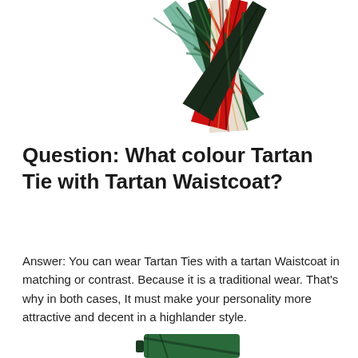[Figure (photo): Fan of five tartan neckties in various tartan patterns spread out: green, dark green/black, white/pink/red, red tartan, and dark navy/green]
Question: What colour Tartan Tie with Tartan Waistcoat?
Answer: You can wear Tartan Ties with a tartan Waistcoat in matching or contrast. Because it is a traditional wear. That's why in both cases, It must make your personality more attractive and decent in a highlander style.
[Figure (photo): Close-up of a green and black tartan necktie folded, partially visible at bottom of page]